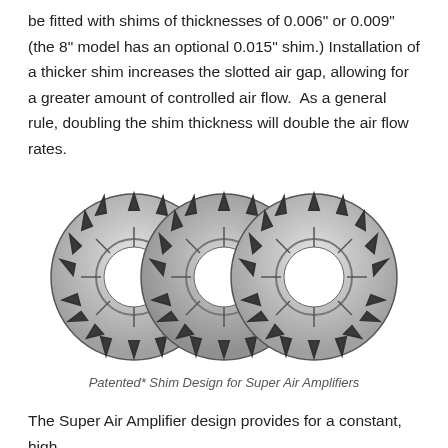be fitted with shims of thicknesses of 0.006" or 0.009" (the 8" model has an optional 0.015" shim.) Installation of a thicker shim increases the slotted air gap, allowing for a greater amount of controlled air flow.  As a general rule, doubling the shim thickness will double the air flow rates.
[Figure (photo): Three overlapping circular metal shims with toothed/slotted edges arranged side by side, showing the patented shim design for Super Air Amplifiers.]
Patented* Shim Design for Super Air Amplifiers
The Super Air Amplifier design provides for a constant, high